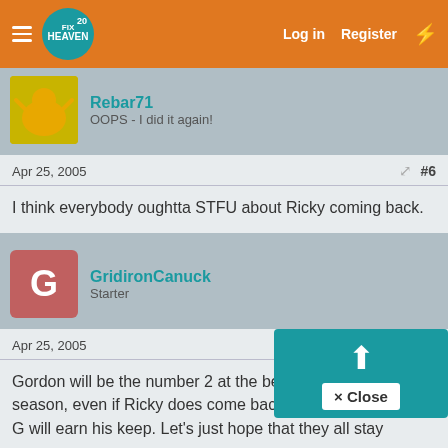FixHeaven forum navigation bar with Hamburger menu, Logo, Log in, Register links
Rebar71
OOPS - I did it again!
Apr 25, 2005  #6
I think everybody oughtta STFU about Ricky coming back.
GridironCanuck
Starter
Apr 25, 2005  #7
Gordon will be the number 2 at the beginning of the season, even if Ricky does come back. I think as a back up G will earn his keep. Let's just hope that they all stay